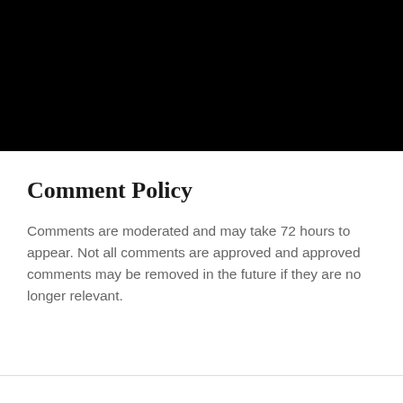[Figure (other): Black header image/banner area spanning full width at top of page]
Comment Policy
Comments are moderated and may take 72 hours to appear. Not all comments are approved and approved comments may be removed in the future if they are no longer relevant.